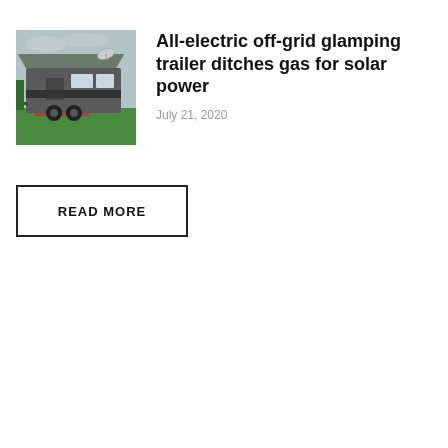[Figure (photo): Outdoor photo of a modern off-grid glamping trailer / caravan parked on green artificial grass at what appears to be an outdoor expo or show. The trailer is gray/silver with a retractable awning extended. A satellite dish is visible on the roof.]
All-electric off-grid glamping trailer ditches gas for solar power
July 21, 2020
READ MORE